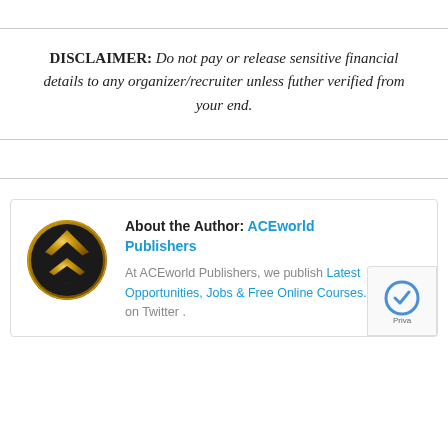DISCLAIMER: Do not pay or release sensitive financial details to any organizer/recruiter unless futher verified from your end.
[Figure (logo): ACEworld Publishers circular logo with gold and black design featuring a diamond/arrow shape]
About the Author: ACEworld Publishers
At ACEworld Publishers, we publish Latest Opportunities, Jobs & Free Online Courses. Join us on Twitter .